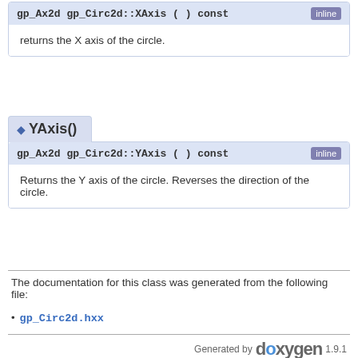gp_Ax2d gp_Circ2d::XAxis ( ) const  inline
returns the X axis of the circle.
YAxis()
gp_Ax2d gp_Circ2d::YAxis ( ) const  inline
Returns the Y axis of the circle. Reverses the direction of the circle.
The documentation for this class was generated from the following file:
gp_Circ2d.hxx
Generated by doxygen 1.9.1